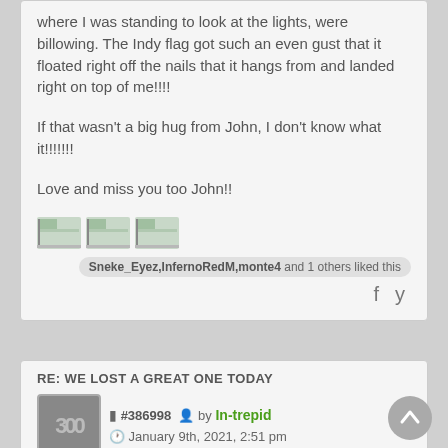where I was standing to look at the lights, were billowing. The Indy flag got such an even gust that it floated right off the nails that it hangs from and landed right on top of me!!!!
If that wasn't a big hug from John, I don't know what it!!!!!!!
Love and miss you too John!!
Sneke_Eyez,InfernoRedM,monte4 and 1 others liked this
RE: WE LOST A GREAT ONE TODAY
#386998 by In-trepid January 9th, 2021, 2:51 pm
I too think of John a lot and the last time I seen